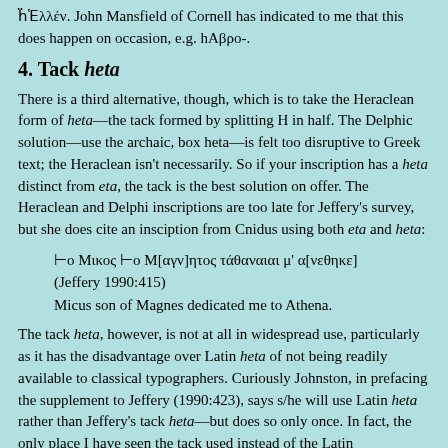ḧἙλλέν. John Mansfield of Cornell has indicated to me that this does happen on occasion, e.g. hΑβρο-.
4. Tack heta
There is a third alternative, though, which is to take the Heraclean form of heta—the tack formed by splitting H in half. The Delphic solution—use the archaic, box heta—is felt too disruptive to Greek text; the Heraclean isn't necessarily. So if your inscription has a heta distinct from eta, the tack is the best solution on offer. The Heraclean and Delphi inscriptions are too late for Jeffery's survey, but she does cite an insciption from Cnidus using both eta and heta:
⊢ο Μικος ⊢ο Μ[αγν]ητος τἀθαναιαι μ' α[νεθηκε]
(Jeffery 1990:415)
Micus son of Magnes dedicated me to Athena.
The tack heta, however, is not at all in widespread use, particularly as it has the disadvantage over Latin heta of not being readily available to classical typographers. Curiously Johnston, in prefacing the supplement to Jeffery (1990:423), says s/he will use Latin heta rather than Jeffery's tack heta—but does so only once. In fact, the only place I have seen the tack used instead of the Latin